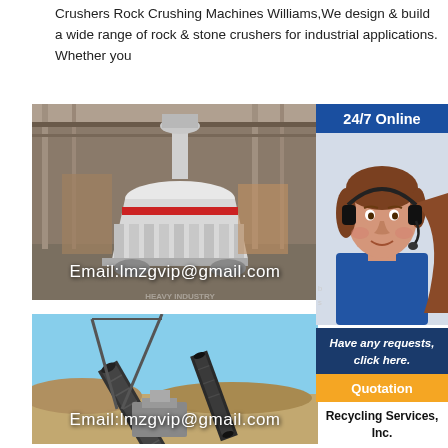Crushers Rock Crushing Machines Williams,We design & build a wide range of rock & stone crushers for industrial applications. Whether you
[Figure (photo): Industrial cone crusher machine inside a factory/warehouse setting. Email:lmzgvip@gmail.com overlay at bottom.]
[Figure (photo): Outdoor aggregate conveyor belt system and crushing equipment at a quarry. Email:lmzgvip@gmail.com overlay at bottom.]
[Figure (photo): Customer service representative wearing headset. 24/7 Online banner at top. Have any requests, click here. banner at bottom.]
Have any requests, click here.
Quotation
Recycling Services, Inc.
Scott Slater (left) has over 30 years of experience focused solely on mobile aggregate services.